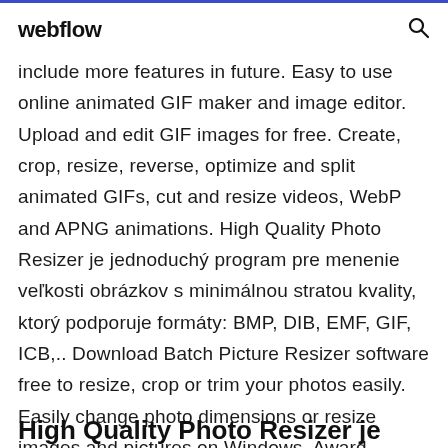webflow
include more features in future. Easy to use online animated GIF maker and image editor. Upload and edit GIF images for free. Create, crop, resize, reverse, optimize and split animated GIFs, cut and resize videos, WebP and APNG animations. High Quality Photo Resizer je jednoduchý program pre menenie veľkosti obrázkov s minimálnou stratou kvality, ktorý podporuje formáty: BMP, DIB, EMF, GIF, ICB,.. Download Batch Picture Resizer software free to resize, crop or trim your photos easily. Easily change photo dimensions or resize images and pictures on Windows. Award Winning Software.
High Quality Photo Resizer je